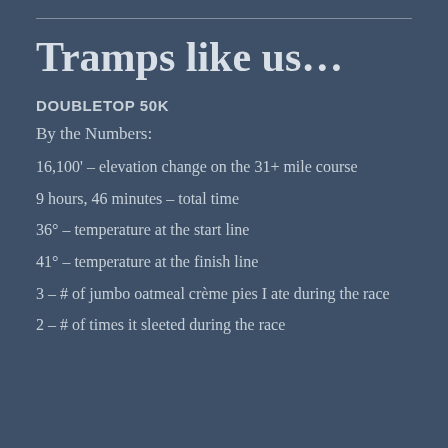Tramps like us…
DOUBLETOP 50K
By the Numbers:
16,100' – elevation change on the 31+ mile course
9 hours, 46 minutes – total time
36° – temperature at the start line
41° – temperature at the finish line
3 – # of jumbo oatmeal crème pies I ate during the race
2 – # of times it sleeted during the race